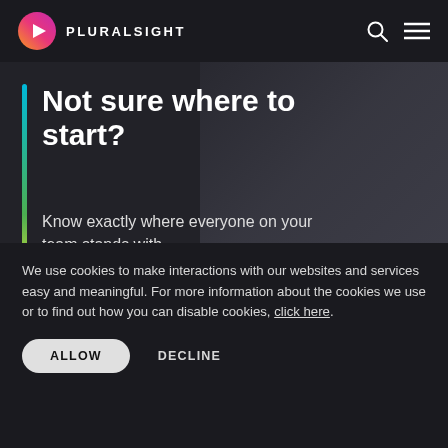PLURALSIGHT
Not sure where to start?
Know exactly where everyone on your team stands with
We use cookies to make interactions with our websites and services easy and meaningful. For more information about the cookies we use or to find out how you can disable cookies, click here.
ALLOW
DECLINE